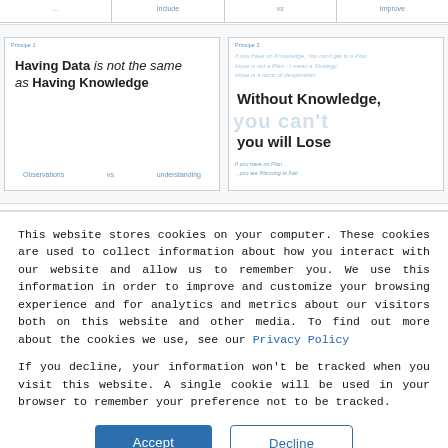[Figure (screenshot): Partial top row of a table with faint column headers partially visible]
[Figure (screenshot): Two preview cards side by side. Card 1: 'Having Data is not the same as Having Knowledge' with subtitle 'Observations vs understanding'. Card 2: 'Without Knowledge, you will Lose' with background faded motivational text.]
This website stores cookies on your computer. These cookies are used to collect information about how you interact with our website and allow us to remember you. We use this information in order to improve and customize your browsing experience and for analytics and metrics about our visitors both on this website and other media. To find out more about the cookies we use, see our Privacy Policy
If you decline, your information won't be tracked when you visit this website. A single cookie will be used in your browser to remember your preference not to be tracked.
Accept
Decline